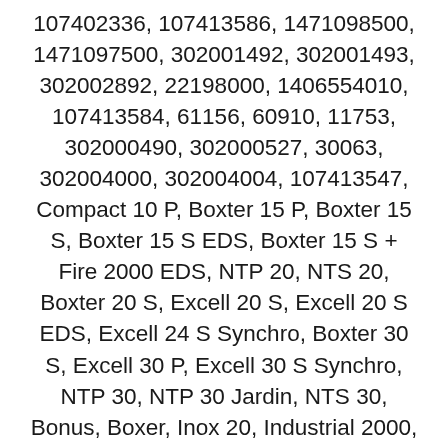107402336, 107413586, 1471098500, 1471097500, 302001492, 302001493, 302002892, 22198000, 1406554010, 107413584, 61156, 60910, 11753, 302000490, 302000527, 30063, 302004000, 302004004, 107413547, Compact 10 P, Boxter 15 P, Boxter 15 S, Boxter 15 S EDS, Boxter 15 S + Fire 2000 EDS, NTP 20, NTS 20, Boxter 20 S, Excell 20 S, Excell 20 S EDS, Excell 24 S Synchro, Boxter 30 S, Excell 30 P, Excell 30 S Synchro, NTP 30, NTP 30 Jardin, NTS 30, Bonus, Boxer, Inox 20, Industrial 2000, Max 7, Multi Pro/Trionic, Omega 100, Classic, Delta ES, 616-01, 620-05, 700-21, 740-07, 740-21, 810-21, 870-21, 950-53, 950-55, Bulldog, Hobby 11/22, Pro 70, Pro 100, Pro 200, Pro 210, Pro 240, Pro 250, 45120271, 45120273, 45120822, 45120272, 45120274, AZ9171775, Peggy, Shop Vac Pro